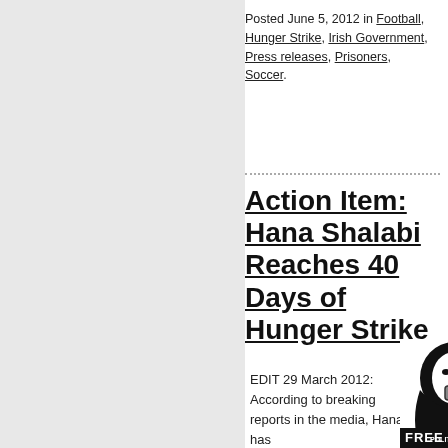Posted June 5, 2012 in Football, Hunger Strike, Irish Government, Press releases, Prisoners, Soccer.
Action Item: Hana Shalabi Reaches 40 Days of Hunger Strike
EDIT 29 March 2012: According to breaking reports in the media, Hana has
[Figure (illustration): Black and white graphic illustration of a woman wearing a hijab with a padlock over her mouth, text reads FREE POLITICAL PRISONER]